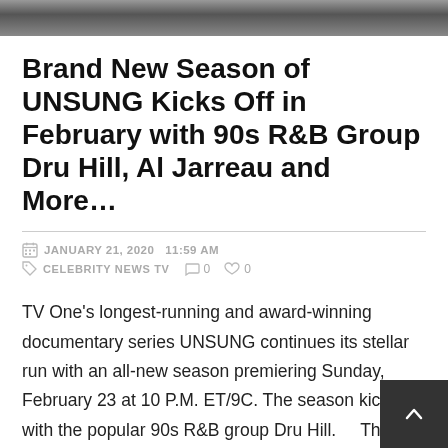[Figure (photo): Partial image strip at the top of the page showing people, cropped]
Brand New Season of UNSUNG Kicks Off in February with 90s R&B Group Dru Hill, Al Jarreau and More…
JANUARY 21, 2020  11:59 am
CELEBRITY NEWS TV  0  0
TV One's longest-running and award-winning documentary series UNSUNG continues its stellar run with an all-new season premiering Sunday, February 23 at 10 P.M. ET/9C. The season kicks off with the popular 90s R&B group Dru Hill.    The